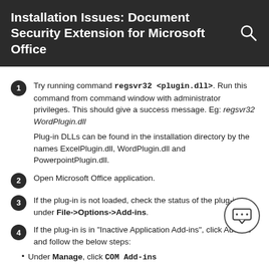Installation Issues: Document Security Extension for Microsoft Office
Try running command regsvr32 <plugin.dll>. Run this command from command window with administrator privileges. This should give a success message. Eg: regsvr32 WordPlugin.dll

Plug-in DLLs can be found in the installation directory by the names ExcelPlugin.dll, WordPlugin.dll and PowerpointPlugin.dll.
Open Microsoft Office application.
If the plug-in is not loaded, check the status of the plug-in under File->Options->Add-ins.
If the plug-in is in "Inactive Application Add-ins", click Add-ins and follow the below steps:
Under Manage, click COM Add-ins